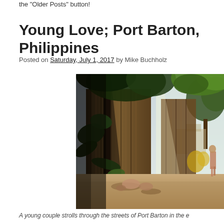the "Older Posts" button!
Young Love; Port Barton, Philippines
Posted on Saturday, July 1, 2017 by Mike Buchholz
[Figure (photo): A sunlit village street in Port Barton, Philippines, with bamboo fences, tropical trees casting shadows, and a person walking in the background.]
A young couple strolls through the streets of Port Barton in the e